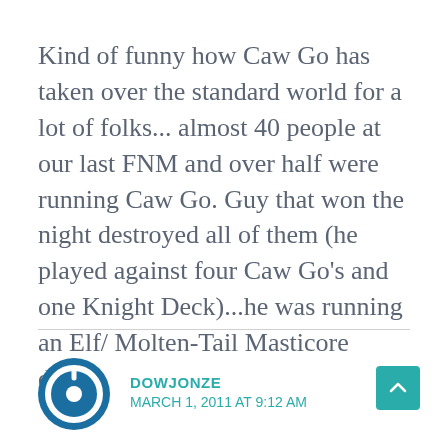Kind of funny how Caw Go has taken over the standard world for a lot of folks... almost 40 people at our last FNM and over half were running Caw Go. Guy that won the night destroyed all of them (he played against four Caw Go's and one Knight Deck)...he was running an Elf/ Molten-Tail Masticore deck.
DOWJONZE
MARCH 1, 2011 AT 9:12 AM